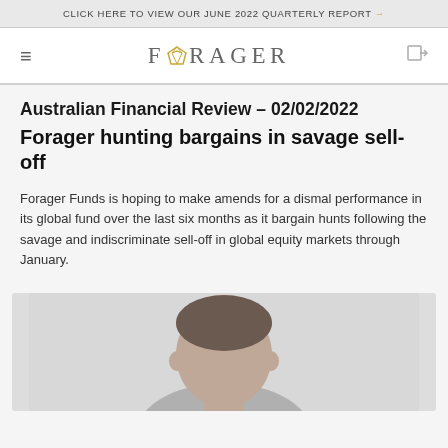CLICK HERE TO VIEW OUR JUNE 2022 QUARTERLY REPORT →
[Figure (logo): Forager Funds logo with hamburger menu and exit icon in navigation bar]
Australian Financial Review – 02/02/2022
Forager hunting bargains in savage sell-off
Forager Funds is hoping to make amends for a dismal performance in its global fund over the last six months as it bargain hunts following the savage and indiscriminate sell-off in global equity markets through January.
[Figure (photo): Partial photo of a person (head/shoulders), cropped at bottom of page]